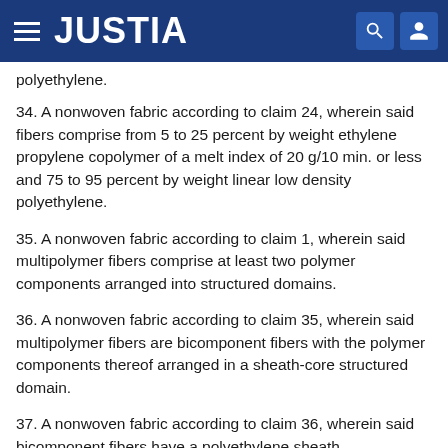JUSTIA
polyethylene.
34. A nonwoven fabric according to claim 24, wherein said fibers comprise from 5 to 25 percent by weight ethylene propylene copolymer of a melt index of 20 g/10 min. or less and 75 to 95 percent by weight linear low density polyethylene.
35. A nonwoven fabric according to claim 1, wherein said multipolymer fibers comprise at least two polymer components arranged into structured domains.
36. A nonwoven fabric according to claim 35, wherein said multipolymer fibers are bicomponent fibers with the polymer components thereof arranged in a sheath-core structured domain.
37. A nonwoven fabric according to claim 36, wherein said bicomponent fibers have a polyethylene sheath...